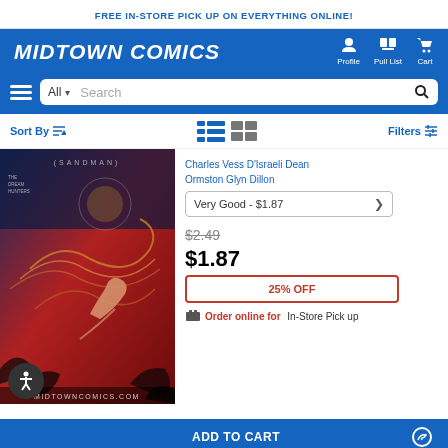FREE IN-STORE PICK UP ON EVERYTHING ONLINE!
[Figure (logo): Midtown Comics logo in white italic bold text on blue background, with Profile, Pull List, and Cart navigation icons]
All  Search
Sort By   Filters
[Figure (photo): Sandman comic book cover with dark red/blue art showing hands and circular swirling elements, MIDTOWNCOMICS.COM watermark]
Charles Vess D'Israeli Dean Ormston Glyn Dillon
Very Good - $1.87
$2.49
$1.87
25% OFF
Order online for In-Store Pick up
ADD TO CART
Black Hammer Library Edition